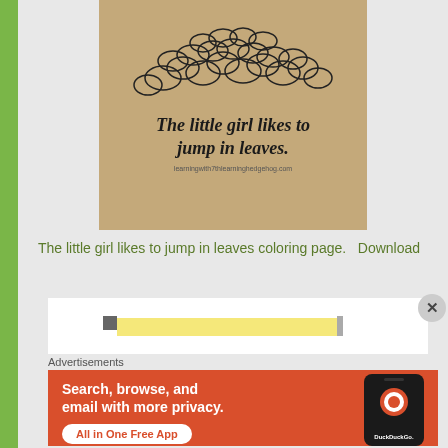[Figure (photo): Photo of a coloring page showing a pile of autumn leaves drawn in outline style, with text below reading 'The little girl likes to jump in leaves.' and a small website credit at the bottom.]
The little girl likes to jump in leaves coloring page.   Download
[Figure (screenshot): Partial screenshot of an advertisement area showing a pencil/notepad graphic, with a close (X) button.]
Advertisements
[Figure (illustration): DuckDuckGo advertisement banner with orange/red background. Text reads: 'Search, browse, and email with more privacy. All in One Free App' with DuckDuckGo logo and phone graphic.]